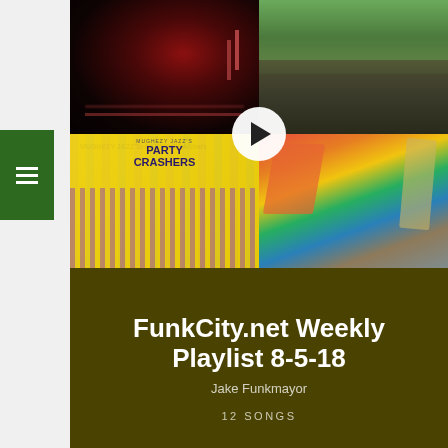[Figure (screenshot): Music streaming playlist page showing a 2x2 grid of album covers (dark atmospheric album top-left, Ghost-Note Swagism top-right, Party Crashers bottom-left, abstract colorful painting bottom-right) with a play button overlay in center, on an olive/dark yellow background]
FunkCity.net Weekly Playlist 8-5-18
Jake Funkmayor
12 SONGS